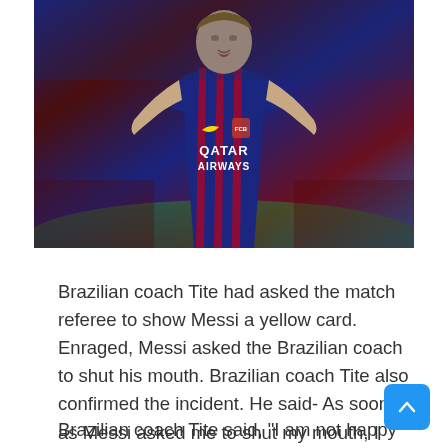[Figure (photo): Lionel Messi celebrating in a FC Barcelona Qatar Airways jersey, arms outstretched, on a football pitch with blurred background crowd and green field.]
Brazilian coach Tite had asked the match referee to show Messi a yellow card. Enraged, Messi asked the Brazilian coach to shut his mouth. Brazilian coach Tite also confirmed the incident. He said- As soon as Messi asked me to shut my mouth, I also said something similar in response.
Brazilian coach Tite said, "I am not happy that the match